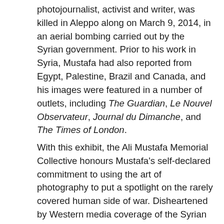photojournalist, activist and writer, was killed in Aleppo along on March 9, 2014, in an aerial bombing carried out by the Syrian government. Prior to his work in Syria, Mustafa had also reported from Egypt, Palestine, Brazil and Canada, and his images were featured in a number of outlets, including The Guardian, Le Nouvel Observateur, Journal du Dimanche, and The Times of London.
With this exhibit, the Ali Mustafa Memorial Collective honours Mustafa's self-declared commitment to using the art of photography to put a spotlight on the rarely covered human side of war. Disheartened by Western media coverage of the Syrian conflict and the treatment of the plight of civilians as mere statistics, he felt compelled to witness firsthand the ongoing tragedies of everyday life he could no longer ignore.
Mustafa's reporting expanded far beyond stories of deaths, displacements and destructions, but told his...